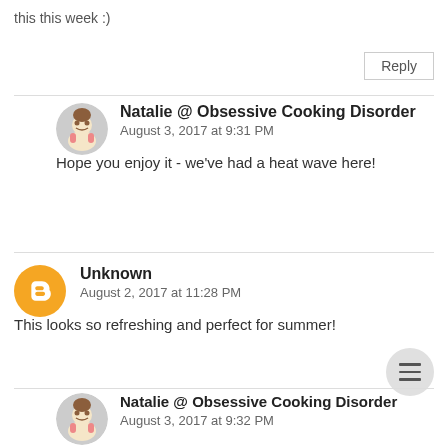this this week :)
Reply
Natalie @ Obsessive Cooking Disorder
August 3, 2017 at 9:31 PM
Hope you enjoy it - we've had a heat wave here!
Unknown
August 2, 2017 at 11:28 PM
This looks so refreshing and perfect for summer!
Natalie @ Obsessive Cooking Disorder
August 3, 2017 at 9:32 PM